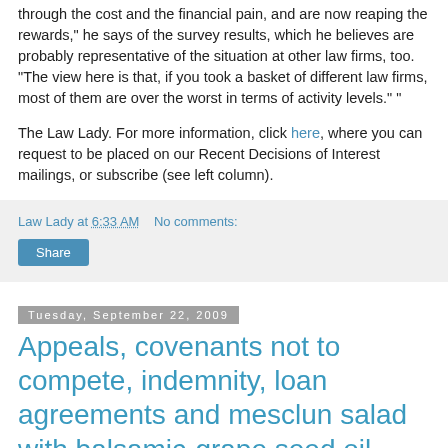through the cost and the financial pain, and are now reaping the rewards," he says of the survey results, which he believes are probably representative of the situation at other law firms, too. "The view here is that, if you took a basket of different law firms, most of them are over the worst in terms of activity levels." "
The Law Lady. For more information, click here, where you can request to be placed on our Recent Decisions of Interest mailings, or subscribe (see left column).
Law Lady at 6:33 AM   No comments:
Share
Tuesday, September 22, 2009
Appeals, covenants not to compete, indemnity, loan agreements and mesclun salad with balsamic-grape seed oil mustard vinaigrette